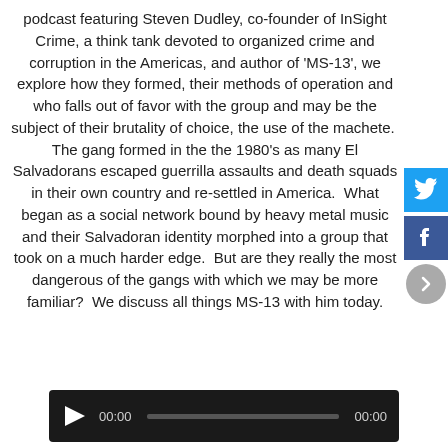podcast featuring Steven Dudley, co-founder of InSight Crime, a think tank devoted to organized crime and corruption in the Americas, and author of 'MS-13', we explore how they formed, their methods of operation and who falls out of favor with the group and may be the subject of their brutality of choice, the use of the machete.  The gang formed in the the 1980's as many El Salvadorans escaped guerrilla assaults and death squads in their own country and re-settled in America.  What began as a social network bound by heavy metal music and their Salvadoran identity morphed into a group that took on a much harder edge.  But are they really the most dangerous of the gangs with which we may be more familiar?  We discuss all things MS-13 with him today.
[Figure (other): Audio player with play button, timestamps 00:00 on both sides, and a progress bar on dark background]